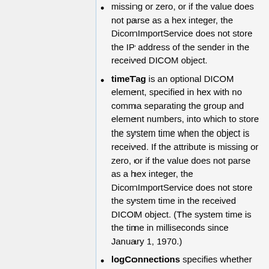missing or zero, or if the value does not parse as a hex integer, the DicomImportService does not store the IP address of the sender in the received DICOM object.
timeTag is an optional DICOM element, specified in hex with no comma separating the group and element numbers, into which to store the system time when the object is received. If the attribute is missing or zero, or if the value does not parse as a hex integer, the DicomImportService does not store the system time in the received DICOM object. (The system time is the time in milliseconds since January 1, 1970.)
logConnections specifies whether to make a log entry for each object